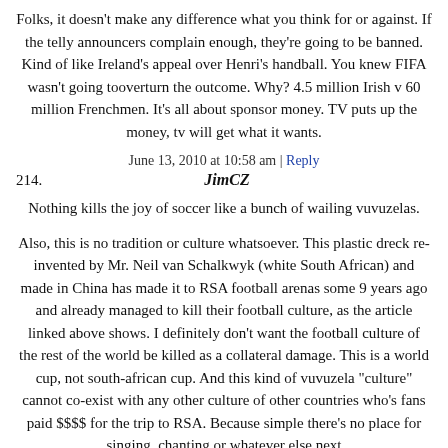Folks, it doesn't make any difference what you think for or against. If the telly announcers complain enough, they're going to be banned. Kind of like Ireland's appeal over Henri's handball. You knew FIFA wasn't going tooverturn the outcome. Why? 4.5 million Irish v 60 million Frenchmen. It's all about sponsor money. TV puts up the money, tv will get what it wants.
June 13, 2010 at 10:58 am | Reply
214.   JimCZ
Nothing kills the joy of soccer like a bunch of wailing vuvuzelas.
Also, this is no tradition or culture whatsoever. This plastic dreck re-invented by Mr. Neil van Schalkwyk (white South African) and made in China has made it to RSA football arenas some 9 years ago and already managed to kill their football culture, as the article linked above shows. I definitely don't want the football culture of the rest of the world be killed as a collateral damage. This is a world cup, not south-african cup. And this kind of vuvuzela "culture" cannot co-exist with any other culture of other countries who's fans paid $$$$ for the trip to RSA. Because simple there's no place for singing, chanting or whatever else next